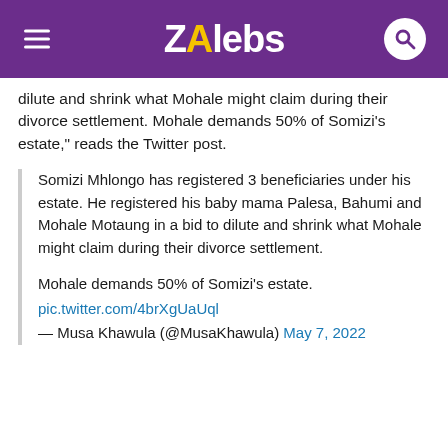ZAlebs
dilute and shrink what Mohale might claim during their divorce settlement. Mohale demands 50% of Somizi's estate," reads the Twitter post.
Somizi Mhlongo has registered 3 beneficiaries under his estate. He registered his baby mama Palesa, Bahumi and Mohale Motaung in a bid to dilute and shrink what Mohale might claim during their divorce settlement.

Mohale demands 50% of Somizi's estate.
pic.twitter.com/4brXgUaUql
— Musa Khawula (@MusaKhawula) May 7, 2022